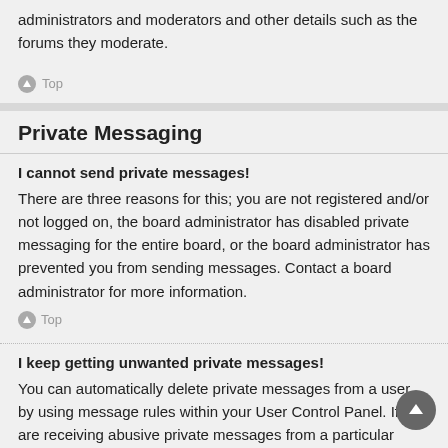administrators and moderators and other details such as the forums they moderate.
Top
Private Messaging
I cannot send private messages!
There are three reasons for this; you are not registered and/or not logged on, the board administrator has disabled private messaging for the entire board, or the board administrator has prevented you from sending messages. Contact a board administrator for more information.
Top
I keep getting unwanted private messages!
You can automatically delete private messages from a user by using message rules within your User Control Panel. If you are receiving abusive private messages from a particular user, report the messages to the moderators; they have the power to prevent a user from sending private messages.